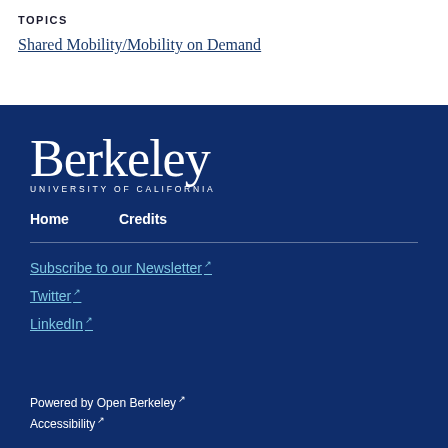TOPICS
Shared Mobility/Mobility on Demand
[Figure (logo): Berkeley University of California logo in white on dark blue background]
Home
Credits
Subscribe to our Newsletter (external link)
Twitter (external link)
LinkedIn (external link)
Powered by Open Berkeley (external link)
Accessibility (external link)